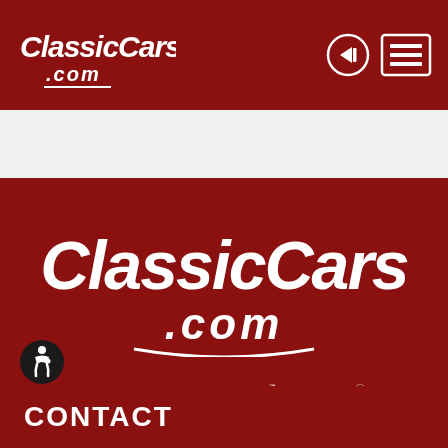[Figure (logo): ClassicCars.com logo in white on dark red header bar, with login circle icon and hamburger menu icon on the right]
[Figure (logo): Large ClassicCars.com logo in white on dark red background, with tagline 'Drive your dream' in script font below]
Drive your dream®
CONTACT